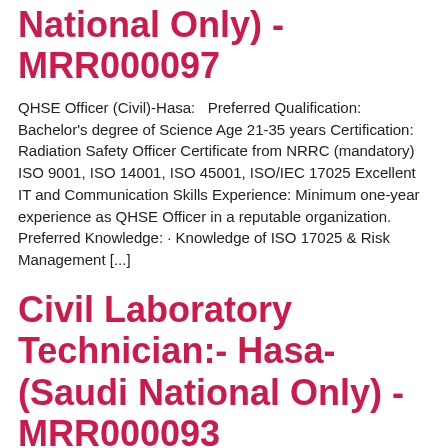National Only) -MRR000097
QHSE Officer (Civil)-Hasa:   Preferred Qualification: Bachelor's degree of Science Age 21-35 years Certification: Radiation Safety Officer Certificate from NRRC (mandatory) ISO 9001, ISO 14001, ISO 45001, ISO/IEC 17025 Excellent IT and Communication Skills Experience: Minimum one-year experience as QHSE Officer in a reputable organization. Preferred Knowledge: · Knowledge of ISO 17025 & Risk Management [...]
Civil Laboratory Technician:- Hasa-(Saudi National Only) - MRR000093
Civil Laboratory Technician:-Hasa:    At RICI, the scope of civil construction material testing is limited to the testing of